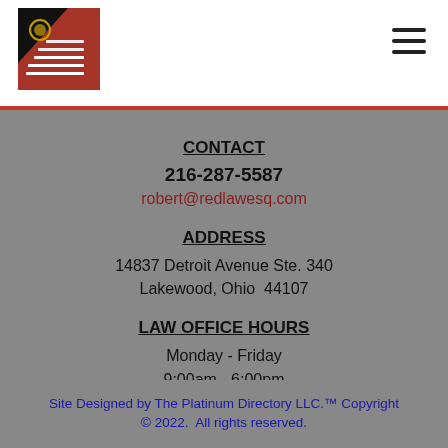Red Law Firm logo and navigation
CONTACT
216-287-5587
robert@redlawesq.com
ADDRESS
14837 Detroit Avenue Ste. 340
Lakewood, Ohio  44107
LAW OFFICE HOURS
Monday - Friday
9:00am - 6:00pm
Site Designed by The Platinum Directory LLC.™ Copyright © 2022.  All rights reserved.